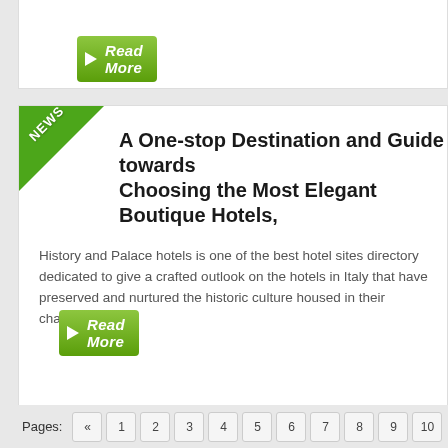[Figure (screenshot): Read More button with green arrow icon at top of page (partial card)]
A One-stop Destination and Guide towards Choosing the Most Elegant Boutique Hotels,
History and Palace hotels is one of the best hotel sites directory dedicated to give a crafted outlook on the hotels in Italy that have preserved and nurtured the historic culture housed in their charming hotels.
[Figure (screenshot): Read More button with green arrow icon in news card]
Pages: « 1 2 3 4 5 6 7 8 9 10